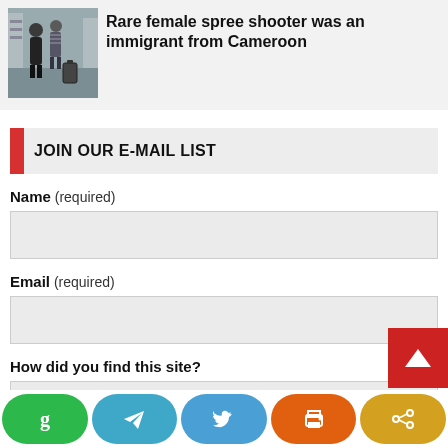[Figure (photo): Thumbnail photo of people in what appears to be a store or public space, accompanying news article about a female spree shooter from Cameroon]
Rare female spree shooter was an immigrant from Cameroon
JOIN OUR E-MAIL LIST
Name (required)
Email (required)
How did you find this site?